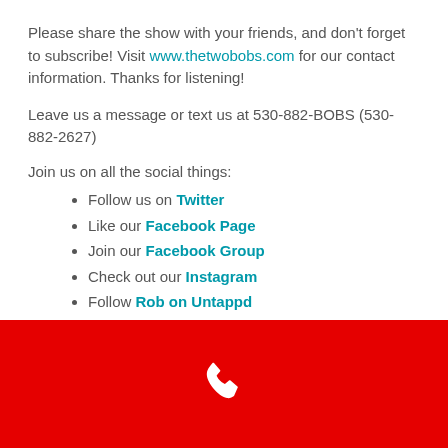Please share the show with your friends, and don't forget to subscribe! Visit www.thetwobobs.com for our contact information. Thanks for listening!
Leave us a message or text us at 530-882-BOBS (530-882-2627)
Join us on all the social things:
Follow us on Twitter
Like our Facebook Page
Join our Facebook Group
Check out our Instagram
Follow Rob on Untappd
Follow Robert on Untappd
The Two Bobs have swag: http://www.thetwobobs.com/swag
The Two Bobs Podcast is © The Two Bobs.  For more information, see our Who are The Two Bobs? page, or check our Contact page.  Words.
[Figure (illustration): Red bar at bottom with white phone handset icon]